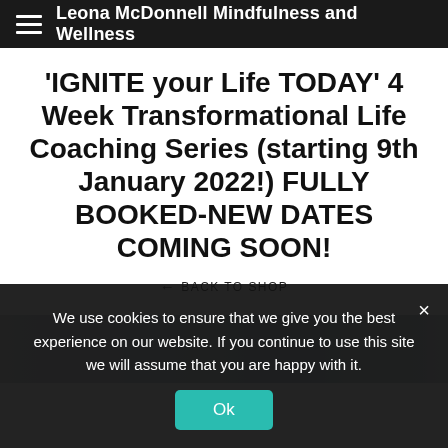Leona McDonnell Mindfulness and Wellness
'IGNITE your Life TODAY' 4 Week Transformational Life Coaching Series (starting 9th January 2022!) FULLY BOOKED-NEW DATES COMING SOON!
← BACK TO SHOP
[Figure (photo): Partial view of a product or event image, partially obscured by cookie consent overlay]
We use cookies to ensure that we give you the best experience on our website. If you continue to use this site we will assume that you are happy with it.
Ok